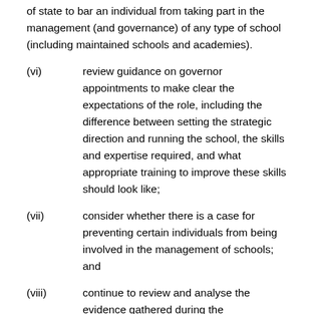of state to bar an individual from taking part in the management (and governance) of any type of school (including maintained schools and academies).
(vi)	review guidance on governor appointments to make clear the expectations of the role, including the difference between setting the strategic direction and running the school, the skills and expertise required, and what appropriate training to improve these skills should look like;
(vii)	consider whether there is a case for preventing certain individuals from being involved in the management of schools; and
(viii)	continue to review and analyse the evidence gathered during the investigation, take further steps to understand issues of concern (including potential financial